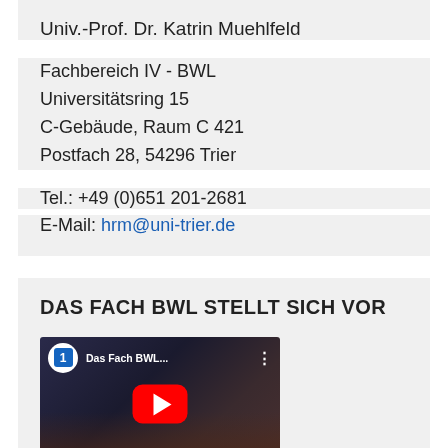Univ.-Prof. Dr. Katrin Muehlfeld
Fachbereich IV - BWL
Universitätsring 15
C-Gebäude, Raum C 421
Postfach 28, 54296 Trier
Tel.: +49 (0)651 201-2681
E-Mail: hrm@uni-trier.de
DAS FACH BWL STELLT SICH VOR
[Figure (screenshot): YouTube video thumbnail showing 'Das Fach BWL...' with a blue university logo circle, red YouTube play button, and audience in background]